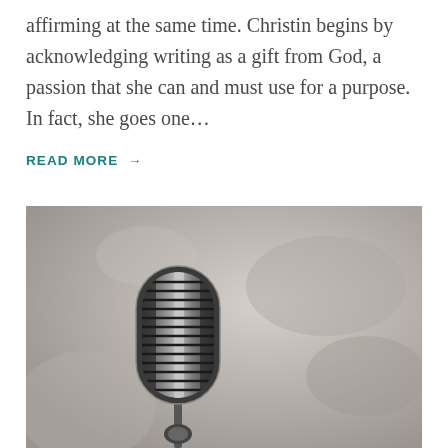affirming at the same time. Christin begins by acknowledging writing as a gift from God, a passion that she can and must use for a purpose. In fact, she goes one…
READ MORE →
[Figure (photo): Black and white / sepia photograph of a vintage retro microphone on a stand, with a blurred background.]